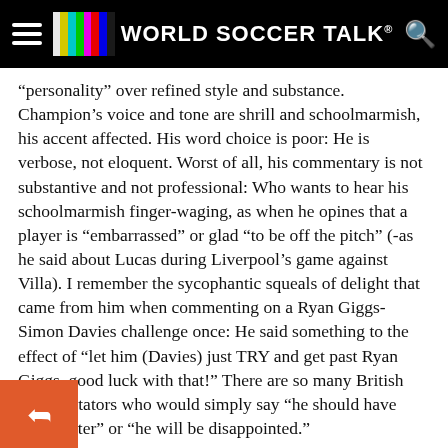World Soccer Talk
“personality” over refined style and substance. Champion’s voice and tone are shrill and schoolmarmish, his accent affected. His word choice is poor: He is verbose, not eloquent. Worst of all, his commentary is not substantive and not professional: Who wants to hear his schoolmarmish finger-waging, as when he opines that a player is “embarrassed” or glad “to be off the pitch” (-as he said about Lucas during Liverpool’s game against Villa). I remember the sycophantic squeals of delight that came from him when commenting on a Ryan Giggs-Simon Davies challenge once: He said something to the effect of “let him (Davies) just TRY and get past Ryan Giggs, good luck with that!” There are so many British commentators who would simply say “he should have done better” or “he will be disappointed.”
More annoying than this lack of professionalism is his off-key abulary: “Insipid” is not a good word to use to describe a r football performance. I believe it is Champion who used